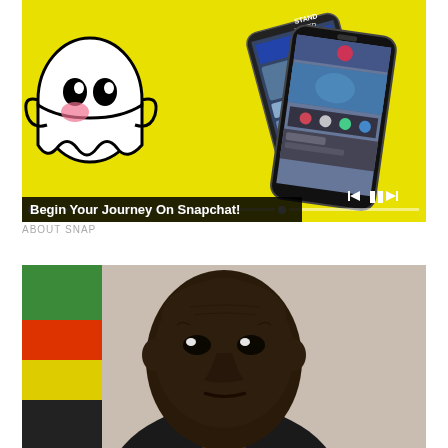[Figure (screenshot): Snapchat promotional video screenshot with yellow background, ghost mascot on left, smartphone showing Snapchat interface on right, video playback controls at bottom, title overlay reading 'Begin Your Journey On Snapchat!']
ABOUT SNAP
[Figure (photo): Portrait photo of a man in front of what appears to be the Zimbabwe flag (green, yellow, red, black colors visible), blurred background]